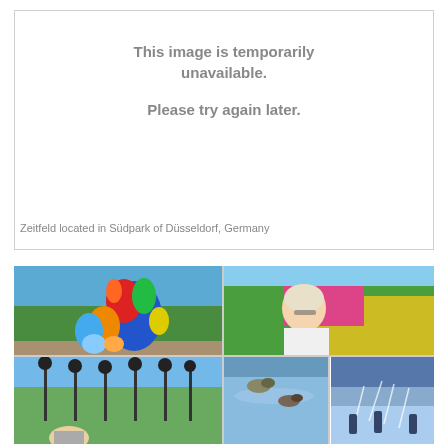[Figure (other): Image temporarily unavailable placeholder with text: This image is temporarily unavailable. Please try again later.]
Zeitfeld located in Südpark of Düsseldorf, Germany
[Figure (photo): Photo collage of Südpark Düsseldorf showing colorful dragon sculpture, woman smiling in garden, clock poles installation, ducks on water, and people at fountain.]